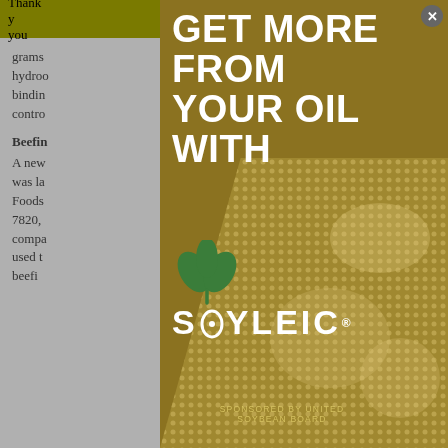Thank you ... ools you
grams ... hydroo ... ning, bindin ... y contro ...
Beefin
A new ... owder, was la ... Foods ... 1-7820, ... the compa ... used t ... beefi...
[Figure (infographic): Advertisement overlay for Soyleic oil product, sponsored by United Soybean Board. Gold background with white bold headline text 'GET MORE FROM YOUR OUR OIL WITH' and the Soyleic brand logo featuring a green plant/leaf icon and the word SOYLEIC. A diagonal textured soybean background fills the lower right. A small close (x) button appears in the top right corner.]
SPONSORED BY UNITED SOYBEAN BOARD